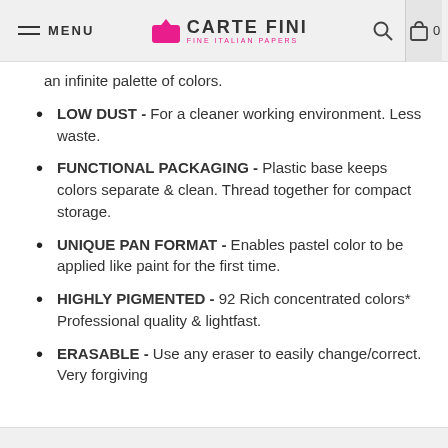MENU | CARTE FINI FINE ITALIAN PAPERS | 0
an infinite palette of colors.
LOW DUST - For a cleaner working environment. Less waste.
FUNCTIONAL PACKAGING - Plastic base keeps colors separate & clean. Thread together for compact storage.
UNIQUE PAN FORMAT - Enables pastel color to be applied like paint for the first time.
HIGHLY PIGMENTED - 92 Rich concentrated colors* Professional quality & lightfast.
ERASABLE - Use any eraser to easily change/correct. Very forgiving